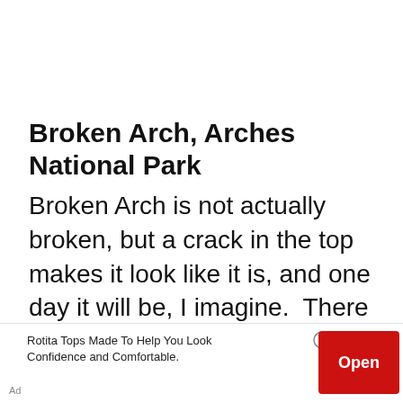Broken Arch, Arches National Park
Broken Arch is not actually broken, but a crack in the top makes it look like it is, and one day it will be, I imagine.  There are a couple of different options to get here.  From Sand Dune Arch, a trail leads off to the left that takes you
[Figure (other): Advertisement banner at bottom of page. Text reads: 'Rotita Tops Made To Help You Look Confidence and Comfortable.' with an 'Open' button in red and ad label 'Ad'.]